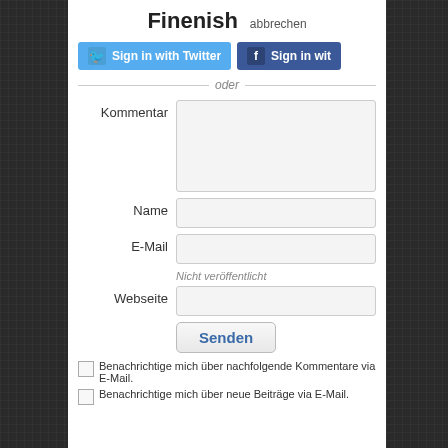Finenish  abbrechen
[Figure (screenshot): Sign in with Twitter button (cyan) and Sign in with Facebook button (dark blue), partially cropped]
oder
Kommentar
Name
E-Mail
Nicht veröffentlicht
Webseite
Senden
Benachrichtige mich über nachfolgende Kommentare via E-Mail.
Benachrichtige mich über neue Beiträge via E-Mail.